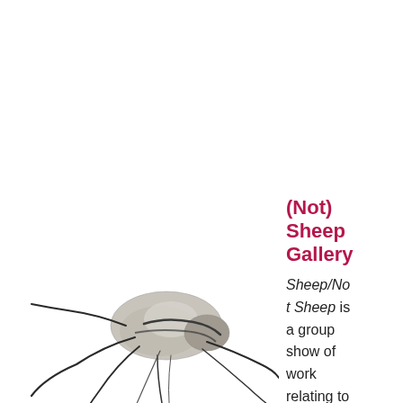[Figure (illustration): A grayscale illustration of a creature (resembling a flattened insect or crustacean) with a pale rounded body and dark sprawling legs or appendages spreading outward on a white background.]
(Not) Sheep Gallery
Sheep/Not Sheep is a group show of work relating to the idea